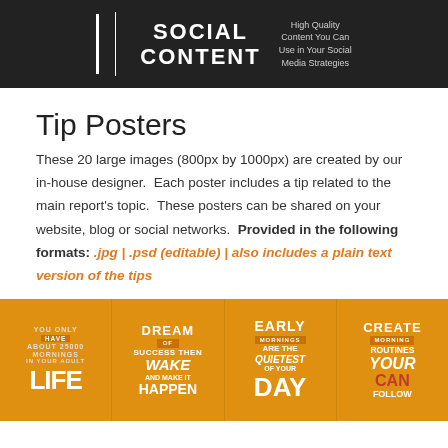[Figure (illustration): Dark banner header showing 'SOCIAL CONTENT' in large white uppercase letters with a vertical white divider line on the left, and 'High Quality Content You Can Use in Your Social Media Strategies' text on the right in gray.]
Tip Posters
These 20 large images (800px by 1000px) are created by our in-house designer.  Each poster includes a tip related to the main report's topic.  These posters can be shared on your website, blog or social networks.  Provided in the following formats: .jpg | .psd (editable) | also includes a plain text version of the tips
[Figure (illustration): Orange/yellow background strip showing four motivational tip poster thumbnails with white bold text: 'YOU ONLY HAVE ABOUT 25000 MORNINGS IN YOUR ADULT LIFE', 'DREAM OF SUCCESS THEN WAKE AND MAKE IT HAPPEN', 'EARLY MORNINGS ARE THE QUIETEST OF YOUR DAY', 'CREATE MORNING ROUTINES YOUR CAN FOLLOW']